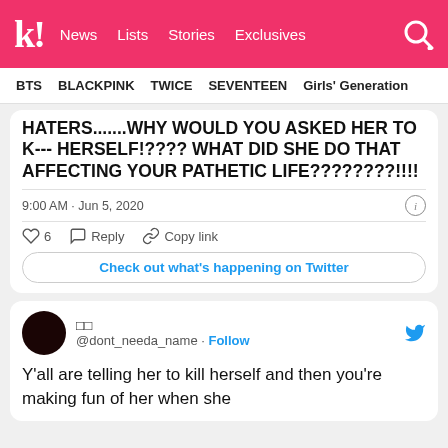k! News Lists Stories Exclusives
BTS BLACKPINK TWICE SEVENTEEN Girls' Generation
HATERS.......WHY WOULD YOU ASKED HER TO K--- HERSELF!???? WHAT DID SHE DO THAT AFFECTING YOUR PATHETIC LIFE????????!!!!
9:00 AM · Jun 5, 2020
6  Reply  Copy link
Check out what's happening on Twitter
□□ @dont_needa_name · Follow
Y'all are telling her to kill herself and then you're making fun of her when she